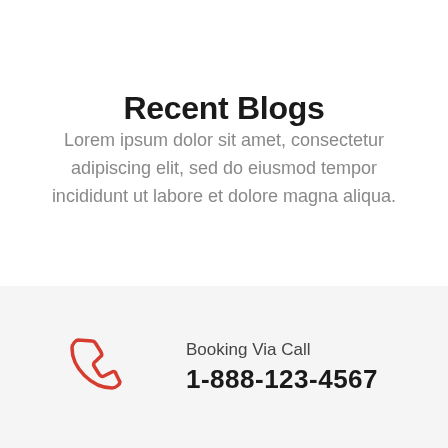Recent Blogs
Lorem ipsum dolor sit amet, consectetur adipiscing elit, sed do eiusmod tempor incididunt ut labore et dolore magna aliqua.
[Figure (illustration): Red telephone/phone handset icon]
Booking Via Call
1-888-123-4567